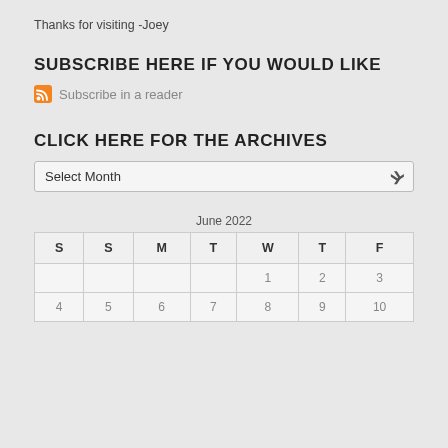Thanks for visiting -Joey
SUBSCRIBE HERE IF YOU WOULD LIKE
Subscribe in a reader
CLICK HERE FOR THE ARCHIVES
Select Month
June 2022
| S | S | M | T | W | T | F |
| --- | --- | --- | --- | --- | --- | --- |
|  |  |  |  | 1 | 2 | 3 |
| 4 | 5 | 6 | 7 | 8 | 9 | 10 |